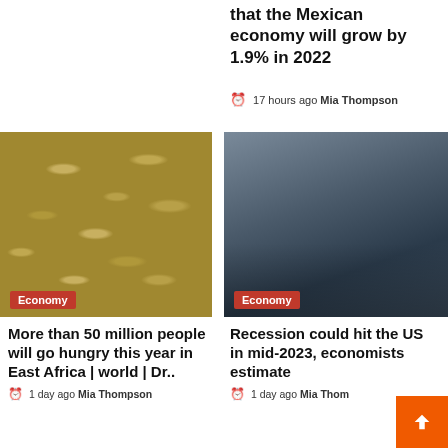that the Mexican economy will grow by 1.9% in 2022
17 hours ago  Mia Thompson
[Figure (photo): Close-up of cereal grains (oats or wheat) scattered on a white surface, with 'Economy' badge overlay]
[Figure (photo): People wearing masks pushing shopping carts full of groceries in a parking lot, with 'Economy' badge overlay]
More than 50 million people will go hungry this year in East Africa | world | Dr..
1 day ago  Mia Thompson
Recession could hit the US in mid-2023, economists estimate
1 day ago  Mia Thom…